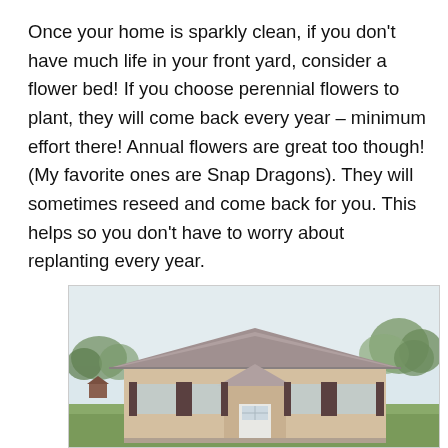Once your home is sparkly clean, if you don't have much life in your front yard, consider a flower bed! If you choose perennial flowers to plant, they will come back every year – minimum effort there! Annual flowers are great too though! (My favorite ones are Snap Dragons). They will sometimes reseed and come back for you. This helps so you don't have to worry about replanting every year.
[Figure (photo): Photo of a single-story house with light tan/beige siding, a gray roof, dark shutters, a white front door, and green trees/landscaping in the background under a light overcast sky.]